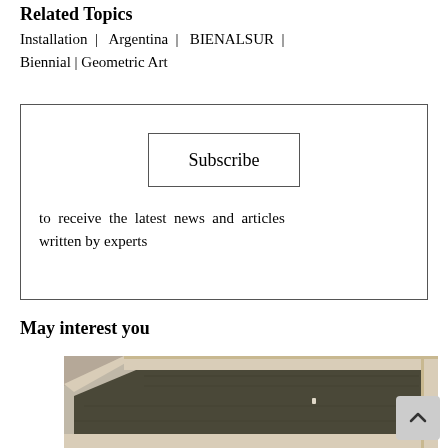Related Topics
Installation | Argentina | BIENALSUR | Biennial | Geometric Art
Subscribe
to receive the latest news and articles written by experts
May interest you
[Figure (photo): Aerial view of a rectangular architectural installation or garden space, viewed from above, with beige/tan border structures and dark interior ground, with a small figure visible.]